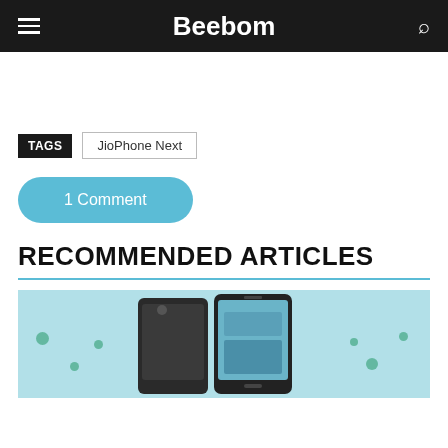Beebom
TAGS   JioPhone Next
1 Comment
RECOMMENDED ARTICLES
[Figure (photo): Two black Jio smartphones shown from front and back against a light teal background with decorative green dots]